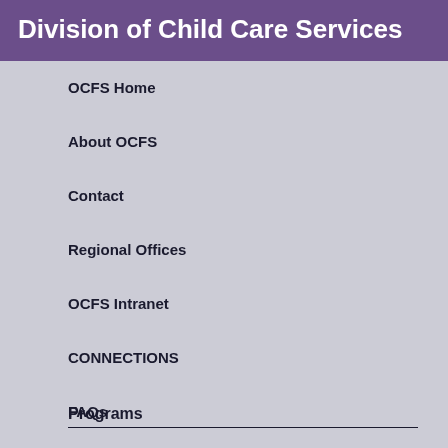Division of Child Care Services
OCFS Home
About OCFS
Contact
Regional Offices
OCFS Intranet
CONNECTIONS
FAQs
Programs